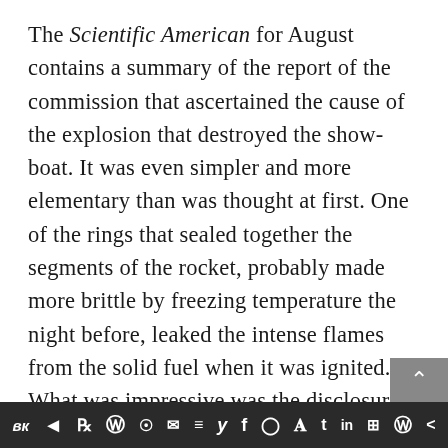The Scientific American for August contains a summary of the report of the commission that ascertained the cause of the explosion that destroyed the show-boat. It was even simpler and more elementary than was thought at first. One of the rings that sealed together the segments of the rocket, probably made more brittle by freezing temperature the night before, leaked the intense flames from the solid fuel when it was ignited. What was impressive was the disclosure that it had been known “since 1977” that such seals were likely to fail; that several times since then they were eroded to the point just short of causing an explosion; that in July 1985 a highly competent engineer had officially warned that
вк  ◀   reddit  W  ©  ✉  ≡  y  f  ◯  P  t  in  ⊞  W  <